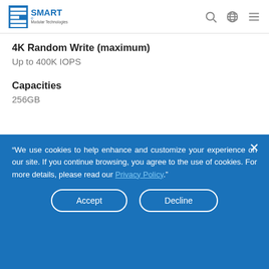SMART Modular Technologies
4K Random Write (maximum)
Up to 400K IOPS
Capacities
256GB
"We use cookies to help enhance and customize your experience on our site. If you continue browsing, you agree to the use of cookies. For more details, please read our Privacy Policy."
Accept
Decline